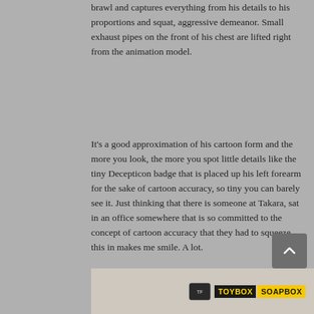brawl and captures everything from his details to his proportions and squat, aggressive demeanor. Small exhaust pipes on the front of his chest are lifted right from the animation model.
It's a good approximation of his cartoon form and the more you look, the more you spot little details like the tiny Decepticon badge that is placed up his left forearm for the sake of cartoon accuracy, so tiny you can barely see it. Just thinking that there is someone at Takara, sat in an office somewhere that is so committed to the concept of cartoon accuracy that they had to squeeze this in makes me smile. A lot.
It's not the cartoon accurate nature of it, although I like that, it's the effort and thought it demonstrates. Especially as we live in a world where Hasbro decided to leave Autobot and Decepticon badges off of the chest of the recently released Titans Return Blurr and Skull~~runcher~~Smasher.
[Figure (photo): Bottom portion showing a toy image and ToyBox Soapbox logo]